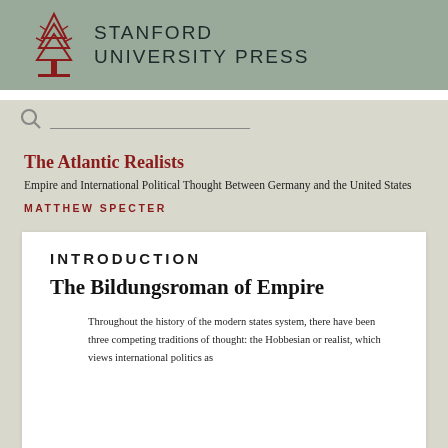STANFORD UNIVERSITY PRESS
The Atlantic Realists
Empire and International Political Thought Between Germany and the United States
MATTHEW SPECTER
INTRODUCTION
The Bildungsroman of Empire
Throughout the history of the modern states system, there have been three competing traditions of thought: the Hobbesian or realist, which views international politics as